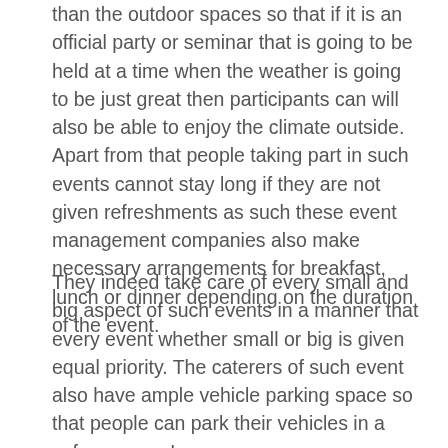than the outdoor spaces so that if it is an official party or seminar that is going to be held at a time when the weather is going to be just great then participants can will also be able to enjoy the climate outside. Apart from that people taking part in such events cannot stay long if they are not given refreshments as such these event management companies also make necessary arrangements for breakfast, lunch or dinner depending on the duration of the event.
They indeed take care of every small and big aspect of such events in a manner that every event whether small or big is given equal priority. The caterers of such event also have ample vehicle parking space so that people can park their vehicles in a safe manner. Learn